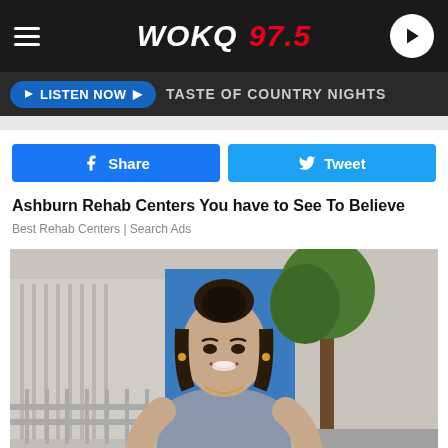WOKQ 97.5
LISTEN NOW ▶  TASTE OF COUNTRY NIGHTS
f  Share
Tweet
Ashburn Rehab Centers You have to See To Believe
Best Rehab Centers | Search Ads
[Figure (photo): Young woman with dark hair in bun, wearing gray fitted dress, smiling outdoors near a sidewalk with a tree and building in background]